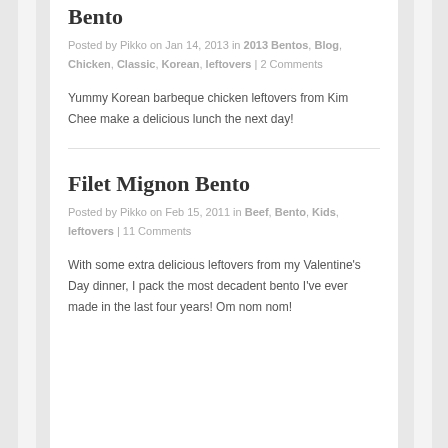Bento
Posted by Pikko on Jan 14, 2013 in 2013 Bentos, Blog, Chicken, Classic, Korean, leftovers | 2 Comments
Yummy Korean barbeque chicken leftovers from Kim Chee make a delicious lunch the next day!
Filet Mignon Bento
Posted by Pikko on Feb 15, 2011 in Beef, Bento, Kids, leftovers | 11 Comments
With some extra delicious leftovers from my Valentine's Day dinner, I pack the most decadent bento I've ever made in the last four years! Om nom nom!